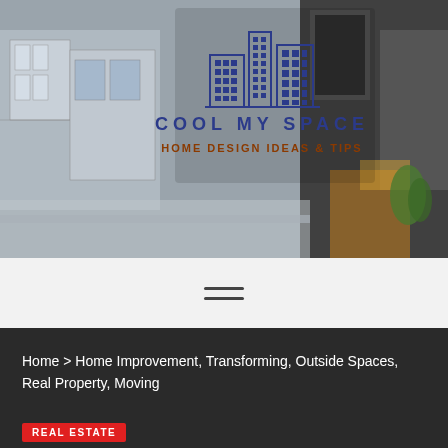[Figure (photo): Hero image of a modern architectural home design with sketch overlay, showing exterior of modern house with glass windows and warm lighting. The 'Cool My Space - Home Design Ideas & Tips' logo with building icon is overlaid in the center.]
≡
Home > Home Improvement, Transforming, Outside Spaces, Real Property, Moving
REAL ESTATE